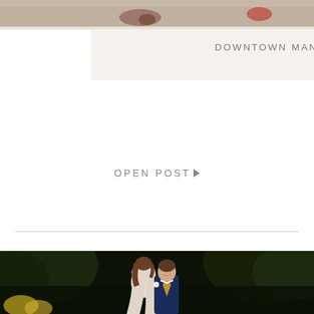[Figure (photo): Top portion of an outdoor photo showing feet/shoes on pavement, cropped at top of page]
DOWNTOWN MANHATTAN ENGAGEMENT- DANIELLE + DYLAN
OPEN POST ▶
[Figure (photo): Wedding couple photo: woman with brown hair leaning into a smiling man in a navy blue suit with gold tie, photographed outdoors with dark green foliage behind them]